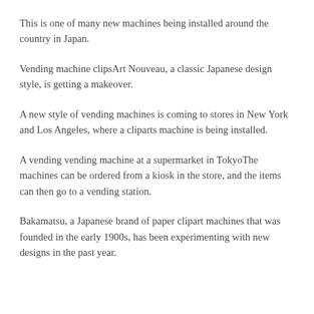This is one of many new machines being installed around the country in Japan.
Vending machine clipsArt Nouveau, a classic Japanese design style, is getting a makeover.
A new style of vending machines is coming to stores in New York and Los Angeles, where a cliparts machine is being installed.
A vending vending machine at a supermarket in TokyoThe machines can be ordered from a kiosk in the store, and the items can then go to a vending station.
Bakamatsu, a Japanese brand of paper clipart machines that was founded in the early 1900s, has been experimenting with new designs in the past year.